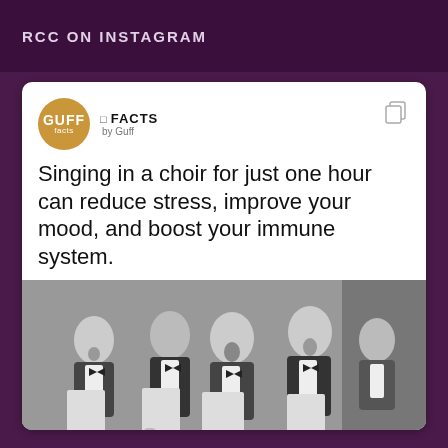RCC ON INSTAGRAM
[Figure (screenshot): Instagram post from GUFF facts account showing text: 'Singing in a choir for just one hour can reduce stress, improve your mood, and boost your immune system.' with a black and white photo of men in tuxedos singing in a choir holding sheet music.]